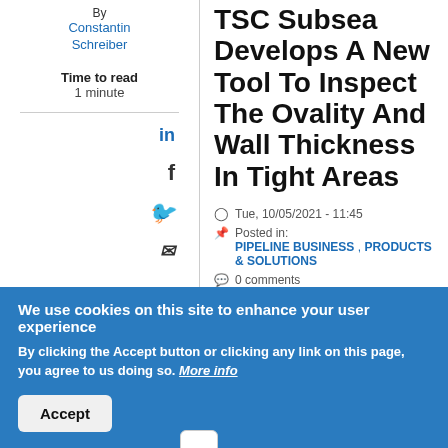By
Constantin Schreiber
Time to read
1 minute
TSC Subsea Develops A New Tool To Inspect The Ovality And Wall Thickness In Tight Areas
Tue, 10/05/2021 - 11:45
Posted in: PIPELINE BUSINESS , PRODUCTS & SOLUTIONS
0 comments
We use cookies on this site to enhance your user experience
By clicking the Accept button or clicking any link on this page, you agree to us doing so. More info
Accept